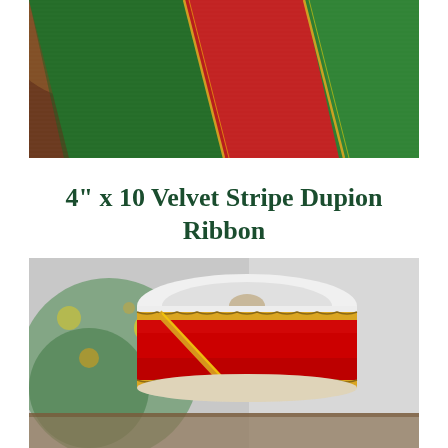[Figure (photo): Close-up of a red and green velvet stripe dupion ribbon draped over a surface, showing stripes of red and green with gold trim edges.]
4” x 10 Velvet Stripe Dupion Ribbon
€25.31
[Figure (photo): A spool of red velvet ribbon with gold decorative trim edges wound around a white cardboard spool, displayed against a blurred Christmas tree background with bokeh lights.]